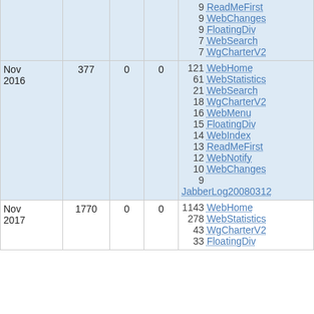| Month | Views | Saves | Attachments | Top views |
| --- | --- | --- | --- | --- |
|  |  |  |  | 9 ReadMeFirst |
|  |  |  |  | 9 WebChanges |
|  |  |  |  | 9 FloatingDiv |
|  |  |  |  | 7 WebSearch |
|  |  |  |  | 7 WgCharterV2 |
| Nov 2016 | 377 | 0 | 0 | 121 WebHome
61 WebStatistics
21 WebSearch
18 WgCharterV2
16 WebMenu
15 FloatingDiv
14 WebIndex
13 ReadMeFirst
12 WebNotify
10 WebChanges
9 JabberLog20080312 |
| Nov 2017 | 1770 | 0 | 0 | 1143 WebHome
278 WebStatistics
43 WgCharterV2
33 FloatingDiv |